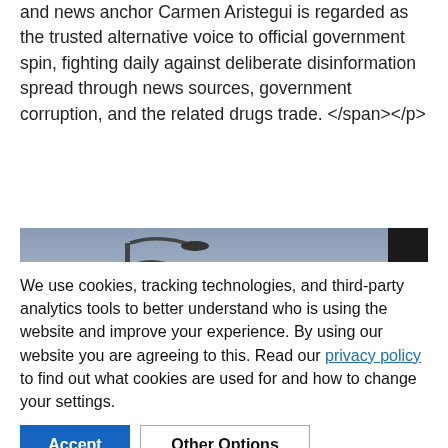and news anchor Carmen Aristegui is regarded as the trusted alternative voice to official government spin, fighting daily against deliberate disinformation spread through news sources, government corruption, and the related drugs trade. </span></p>
[Figure (photo): Outdoor scene with street lamp poles against a pale sky, with a partial dark billboard visible on the right edge showing partial text 'JOHN WO PRE']
We use cookies, tracking technologies, and third-party analytics tools to better understand who is using the website and improve your experience. By using our website you are agreeing to this. Read our privacy policy to find out what cookies are used for and how to change your settings.
Accept | Other Options